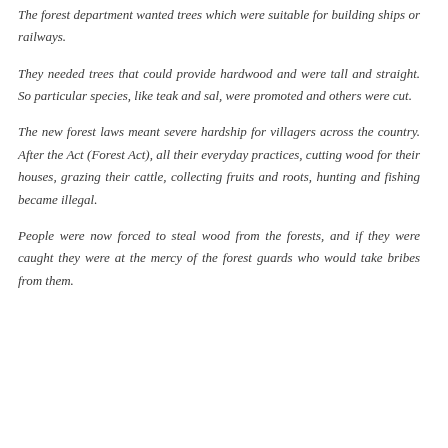The forest department wanted trees which were suitable for building ships or railways.
They needed trees that could provide hardwood and were tall and straight. So particular species, like teak and sal, were promoted and others were cut.
The new forest laws meant severe hardship for villagers across the country. After the Act (Forest Act), all their everyday practices, cutting wood for their houses, grazing their cattle, collecting fruits and roots, hunting and fishing became illegal.
People were now forced to steal wood from the forests, and if they were caught they were at the mercy of the forest guards who would take bribes from them.